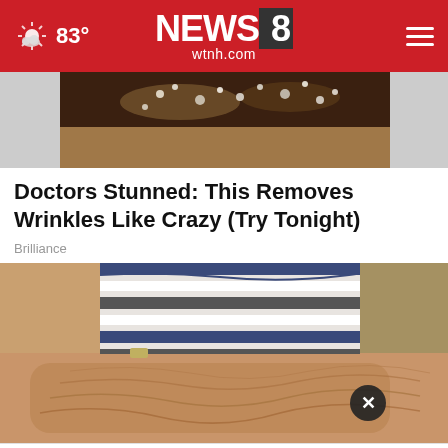NEWS 8 wtnh.com — 83°
[Figure (photo): Close-up of a decorative item with dark chocolate and sparkling crystals on a light background]
Doctors Stunned: This Removes Wrinkles Like Crazy (Try Tonight)
Brilliance
[Figure (photo): Elderly person seated, wearing a blue and white striped top, with wrinkled arms and hands resting on a surface]
Your One-Stop Summer Pet Shop Petco